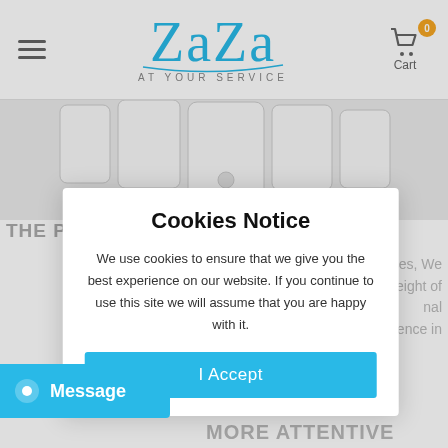[Figure (logo): ZaZa 'At Your Service' brand logo in teal/blue cursive script]
[Figure (photo): Row of smartphones of different sizes with labels: 4.5inch, 5inch, 6inch, 4.7inch, 4inch]
THE PROCESSIS MORE ATTENTIVE
...sses, We ...weight of ...nal ...ellence in ...
Cookies Notice
We use cookies to ensure that we give you the best experience on our website. If you continue to use this site we will assume that you are happy with it.
I Accept
Message
MORE ATTENTIVE